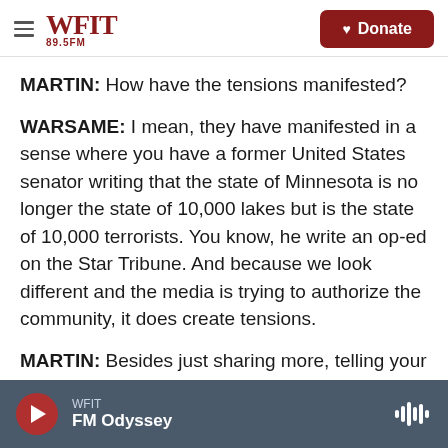WFIT 89.5FM | Donate
MARTIN: How have the tensions manifested?
WARSAME: I mean, they have manifested in a sense where you have a former United States senator writing that the state of Minnesota is no longer the state of 10,000 lakes but is the state of 10,000 terrorists. You know, he write an op-ed on the Star Tribune. And because we look different and the media is trying to authorize the community, it does create tensions.
MARTIN: Besides just sharing more, telling your own story to the broader community and to
WFIT | FM Odyssey